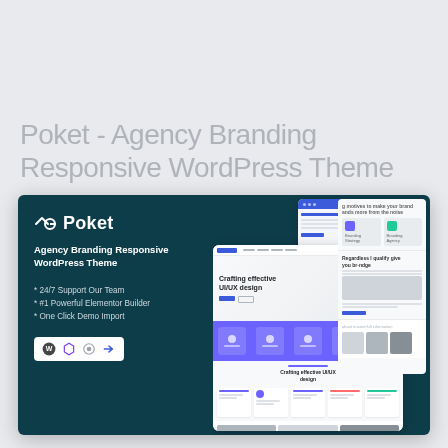Poket - Agency Branding Responsive WordPress Theme
[Figure (screenshot): Dark teal promotional card showing the Poket WordPress theme with logo, tagline 'Agency Branding Responsive WordPress Theme', feature bullets (24/7 Support Our Team, #1 Powerful Elementor Builder, One Click Demo Import), compatibility icons bar, and website screenshot mockups on the right side.]